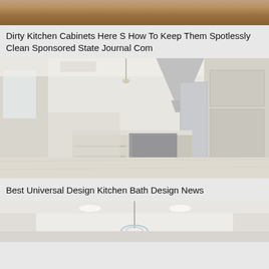[Figure (photo): Partial view of kitchen cabinets, cropped at top of page]
Dirty Kitchen Cabinets Here S How To Keep Them Spotlessly Clean Sponsored State Journal Com
[Figure (photo): Modern open-plan kitchen with large island, stainless steel range hood, light wood cabinetry, stainless steel appliances, and light hardwood floors extending into living/dining area]
Best Universal Design Kitchen Bath Design News
[Figure (photo): Partial view of bright kitchen interior with pendant chandelier, recessed lighting, and white walls/ceiling]